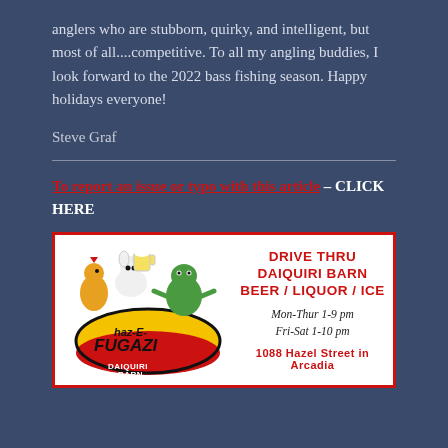anglers who are stubborn, quirky, and intelligent, but most of all....competitive. To all my angling buddies, I look forward to the 2022 bass fishing season. Happy holidays everyone!
Steve Graf
To report an issue or typo with this article – CLICK HERE
[Figure (illustration): Advertisement for Haz-E-Fugazi Drive Thru Daiquiri Barn featuring cartoon animal characters and a logo. Text reads: DRIVE THRU DAIQUIRI BARN BEER / LIQUOR / ICE, Mon-Thur 1-9 pm, Fri-Sat 1-10 pm, 1088 Hazel Street in Arcadia]